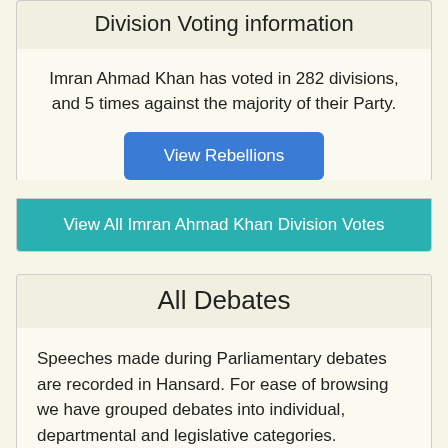Division Voting information
Imran Ahmad Khan has voted in 282 divisions, and 5 times against the majority of their Party.
View Rebellions
View All Imran Ahmad Khan Division Votes
All Debates
Speeches made during Parliamentary debates are recorded in Hansard. For ease of browsing we have grouped debates into individual, departmental and legislative categories.